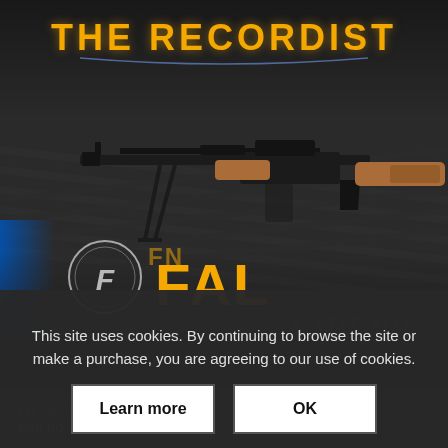[Figure (photo): Product page screenshot from 'The Recordist' website showing an FN FAL Battle Rifle sound library. The main image shows an FN FAL rifle on a dark textured surface. Title 'THE RECORDIST' appears at top in yellow/gold text. 'FN FAL' logo with circle-F emblem appears in lower portion of image in orange/gold. 'BATTLE RIFLE' text appears faintly. A cookie consent overlay reads 'This site uses cookies. By continuing to browse the site or make a purchase, you are agreeing to our use of cookies.' with 'Learn more' and 'OK' buttons. Partially visible product info shows 'FN FAL Battle Rifle' and '$89.00'.]
This site uses cookies. By continuing to browse the site or make a purchase, you are agreeing to our use of cookies.
FN FAL Battle Rifle
$89.00